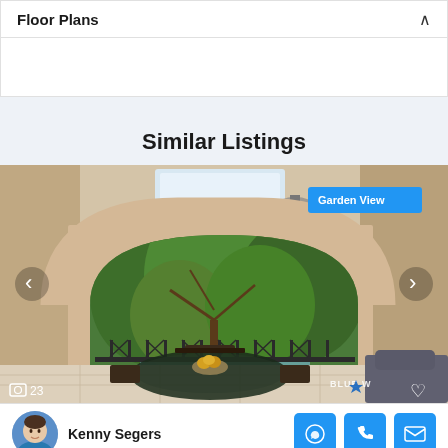Floor Plans
Similar Listings
[Figure (photo): Outdoor covered patio/terrace with stone arched columns, a dining table set with rattan chairs, a bowl of fruit on a dark glass table, lush green trees visible through the arch, and a car partially visible on the right. A 'Garden View' badge appears top-right. Navigation arrows on left and right. Photo count '23' and heart icon at bottom. Blue Wave Properties logo watermark.]
Kenny Segers